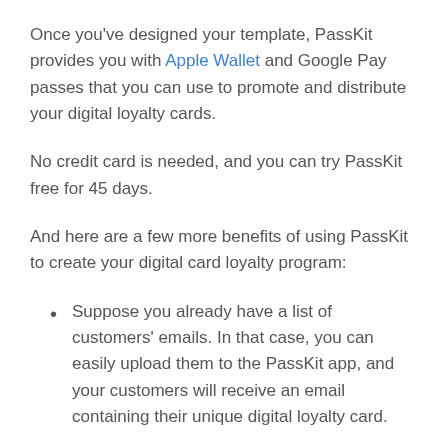Once you've designed your template, PassKit provides you with Apple Wallet and Google Pay passes that you can use to promote and distribute your digital loyalty cards.
No credit card is needed, and you can try PassKit free for 45 days.
And here are a few more benefits of using PassKit to create your digital card loyalty program:
Suppose you already have a list of customers' emails. In that case, you can easily upload them to the PassKit app, and your customers will receive an email containing their unique digital loyalty card.